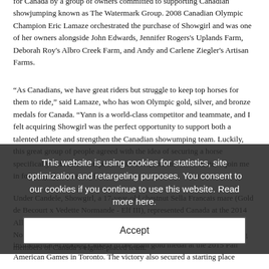for Canada by a group of owners committed to supporting Canadian showjumping known as The Watermark Group. 2008 Canadian Olympic Champion Eric Lamaze orchestrated the purchase of Showgirl and was one of her owners alongside John Edwards, Jennifer Rogers's Uplands Farm, Deborah Roy's Albro Creek Farm, and Andy and Carlene Ziegler's Artisan Farms.
“As Canadians, we have great riders but struggle to keep top horses for them to ride,” said Lamaze, who has won Olympic gold, silver, and bronze medals for Canada. “Yann is a world-class competitor and teammate, and I felt acquiring Showgirl was the perfect opportunity to support both a talented athlete and strengthen the Canadian showumping team. Luckily, this great group of people agreed with the idea of securing a horse specifically with team competition in mind, and did not hesitate to join me in forming The Watermark Group.”
Under Candele, Showgirl, a 17-year-old chestnut Selle Francais mare (Gold de Becourt x Vedette Normande - Elf III), represented Canada at the 2014 Alltech FEI World Equestrian Games held in Candele's birthplace of Normandy, France. There, Candele and Showgirl were the top performing members of Canada's eighth-placed team.
instrumental in leading Canada to the team gold medal at the 2015 Pan American Games in Toronto. The victory also secured a starting place
This website is using cookies for statistics, site optimization and retargeting purposes. You consent to our cookies if you continue to use this website. Read more here.
Accept